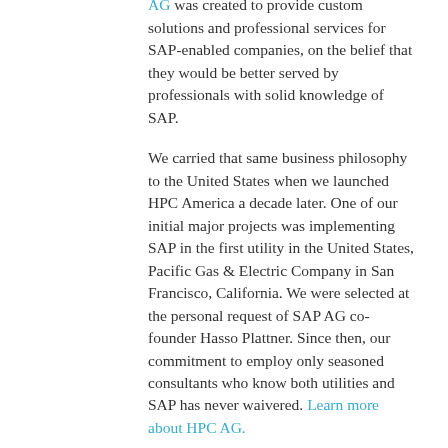in Germany founded our company. HPC AG was created to provide custom solutions and professional services for SAP-enabled companies, on the belief that they would be better served by professionals with solid knowledge of SAP.

We carried that same business philosophy to the United States when we launched HPC America a decade later. One of our initial major projects was implementing SAP in the first utility in the United States, Pacific Gas & Electric Company in San Francisco, California. We were selected at the personal request of SAP AG co-founder Hasso Plattner. Since then, our commitment to employ only seasoned consultants who know both utilities and SAP has never waivered. Learn more about HPC AG.